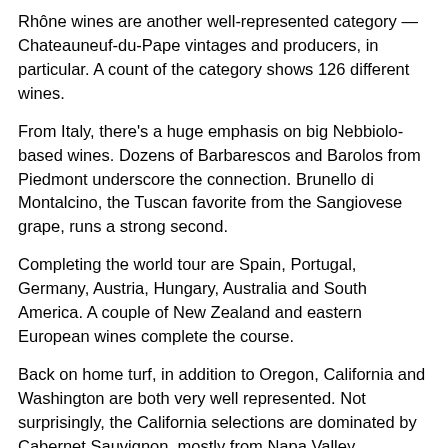Rhône wines are another well-represented category — Chateauneuf-du-Pape vintages and producers, in particular. A count of the category shows 126 different wines.
From Italy, there's a huge emphasis on big Nebbiolo-based wines. Dozens of Barbarescos and Barolos from Piedmont underscore the connection. Brunello di Montalcino, the Tuscan favorite from the Sangiovese grape, runs a strong second.
Completing the world tour are Spain, Portugal, Germany, Austria, Hungary, Australia and South America. A couple of New Zealand and eastern European wines complete the course.
Back on home turf, in addition to Oregon, California and Washington are both very well represented. Not surprisingly, the California selections are dominated by Cabernet Sauvignon, mostly from Napa Valley.
The equally deep Washington list consists primarily of Bordelaise varieties along with numerous proprietary blends emulating the classic Bordeaux tradition. Prominently represented are Andrew Will, Betz, Ch. Ste. Michelle, K Vintners, Leonetti, Mark Ryan and Woodward Canyon.